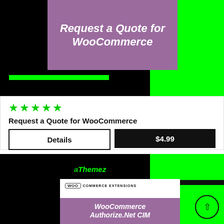[Figure (screenshot): Product banner image for 'Request a Quote for WooCommerce' plugin. Black background with bright green panel on the right, purple box in the center with the product title text, and a green bar at the bottom left.]
★★★★★
Request a Quote for WooCommerce
Details
$4.99
[Figure (screenshot): Product banner image for 'WooCommerce Authorize.Net CIM' plugin. Black background with bright green panel on the right, aThemez logo at the top, white inner box with WooCommerce Extensions label, and purple box with product title text. A circular up-arrow button appears at the bottom right.]